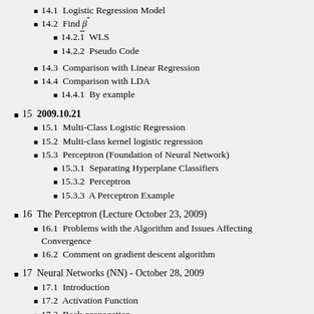14.1  Logistic Regression Model
14.2  Find β̄
14.2.1  WLS
14.2.2  Pseudo Code
14.3  Comparison with Linear Regression
14.4  Comparison with LDA
14.4.1  By example
15  2009.10.21
15.1  Multi-Class Logistic Regression
15.2  Multi-class kernel logistic regression
15.3  Perceptron (Foundation of Neural Network)
15.3.1  Separating Hyperplane Classifiers
15.3.2  Perceptron
15.3.3  A Perceptron Example
16  The Perceptron (Lecture October 23, 2009)
16.1  Problems with the Algorithm and Issues Affecting Convergence
16.2  Comment on gradient descent algorithm
17  Neural Networks (NN) - October 28, 2009
17.1  Introduction
17.2  Activation Function
17.3  Back-propagation